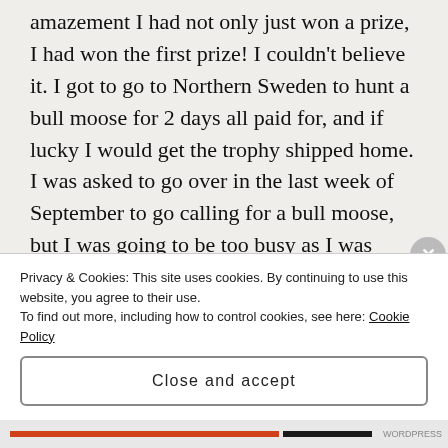amazement I had not only just won a prize, I had won the first prize! I couldn't believe it. I got to go to Northern Sweden to hunt a bull moose for 2 days all paid for, and if lucky I would get the trophy shipped home. I was asked to go over in the last week of September to go calling for a bull moose, but I was going to be too busy as I was working as a Ghillie in the highlands for the stag season. So, we agreed I could go the first week of September. This was the start of the moose hunting season. The method of hunting would be with a moose dog
Privacy & Cookies: This site uses cookies. By continuing to use this website, you agree to their use. To find out more, including how to control cookies, see here: Cookie Policy
Close and accept